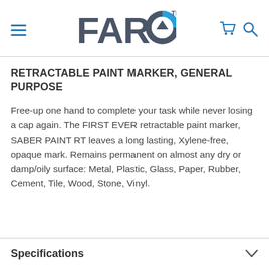FARO
RETRACTABLE PAINT MARKER, GENERAL PURPOSE
Free-up one hand to complete your task while never losing a cap again. The FIRST EVER retractable paint marker, SABER PAINT RT leaves a long lasting, Xylene-free, opaque mark. Remains permanent on almost any dry or damp/oily surface: Metal, Plastic, Glass, Paper, Rubber, Cement, Tile, Wood, Stone, Vinyl.
Specifications